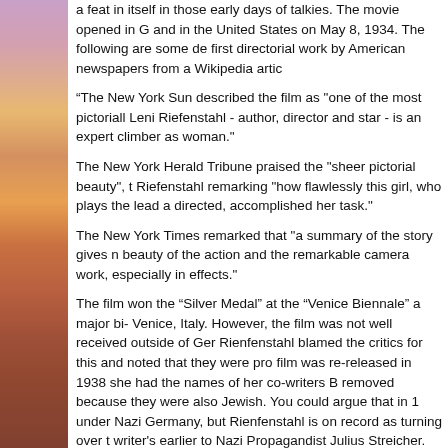a feat in itself in those early days of talkies. The movie opened in G and in the United States on May 8, 1934. The following are some de first directorial work by American newspapers from a Wikipedia artic
“The New York Sun described the film as "one of the most pictoriall Leni Riefenstahl - author, director and star - is an expert climber as woman."
The New York Herald Tribune praised the "sheer pictorial beauty", t Riefenstahl remarking "how flawlessly this girl, who plays the lead a directed, accomplished her task."
The New York Times remarked that "a summary of the story gives n beauty of the action and the remarkable camera work, especially in effects."
The film won the “Silver Medal” at the “Venice Biennale” a major bi- Venice, Italy. However, the film was not well received outside of Ger Rienfenstahl blamed the critics for this and noted that they were pro film was re-released in 1938 she had the names of her co-writers B removed because they were also Jewish. You could argue that in 1 under Nazi Germany, but Rienfenstahl is on record as turning over t writer's earlier to Nazi Propagandist Julius Streicher. Whose newsp central element in Nazi propaganda and would publish three anti-Se children.
Prior to the release of “Blue Light” in the United States Leni Rienfe come to Hollywood and make films in this country, but supposedly